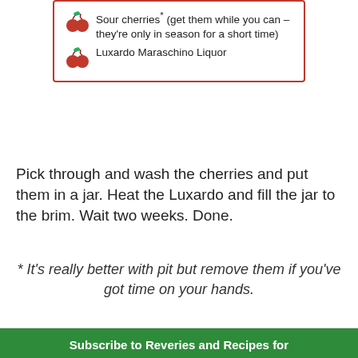Sour cherries* (get them while you can – they're only in season for a short time)
Luxardo Maraschino Liquor
Pick through and wash the cherries and put them in a jar. Heat the Luxardo and fill the jar to the brim. Wait two weeks. Done.
* It's really better with pit but remove them if you've got time on your hands.
Subscribe to Reveries and Recipes for notifications of weekly updates.